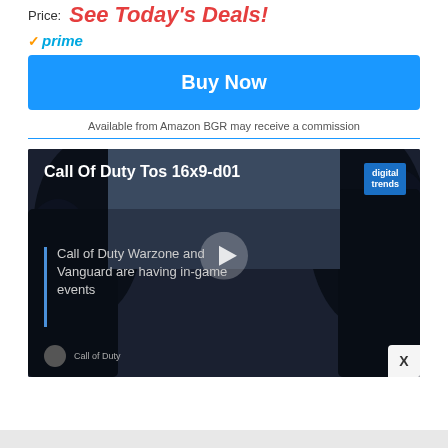Price: See Today's Deals!
[Figure (logo): Amazon Prime checkmark and prime logo badge]
Buy Now
Available from Amazon BGR may receive a commission
[Figure (screenshot): Video player thumbnail showing Call of Duty Warzone scene with dark foliage background, play button in center, title 'Call Of Duty Tos 16x9-d01', Digital Trends logo badge top right, sidebar text 'Call of Duty Warzone and Vanguard are having in-game events', Call of Duty channel avatar and name at bottom, X close button bottom right]